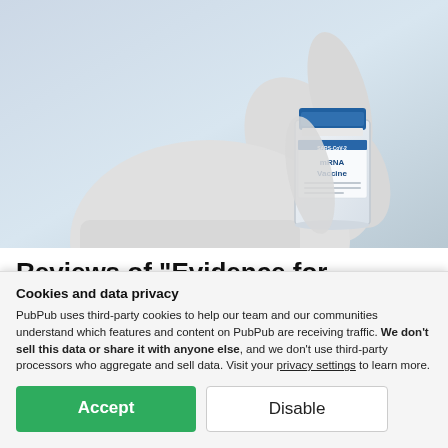[Figure (photo): A gloved hand holding a small vial labeled 'mRNA Vaccine' against a light blue-grey background]
Reviews of "Evidence for increased breakthrough rates of SARS-CoV-2 variants of concern in BNT162b2
Cookies and data privacy
PubPub uses third-party cookies to help our team and our communities understand which features and content on PubPub are receiving traffic. We don't sell this data or share it with anyone else, and we don't use third-party processors who aggregate and sell data. Visit your privacy settings to learn more.